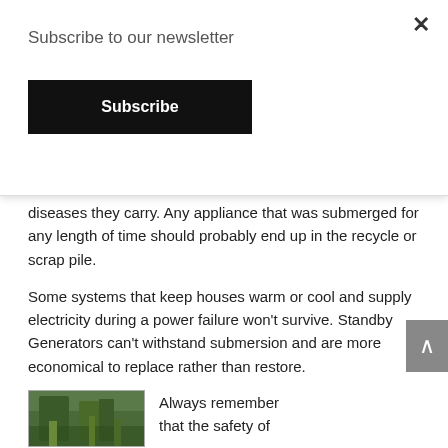Subscribe to our newsletter
Subscribe
diseases they carry. Any appliance that was submerged for any length of time should probably end up in the recycle or scrap pile.
Some systems that keep houses warm or cool and supply electricity during a power failure won't survive. Standby Generators can't withstand submersion and are more economical to replace rather than restore.
CONSIDERATIONS
Always remember that the safety of